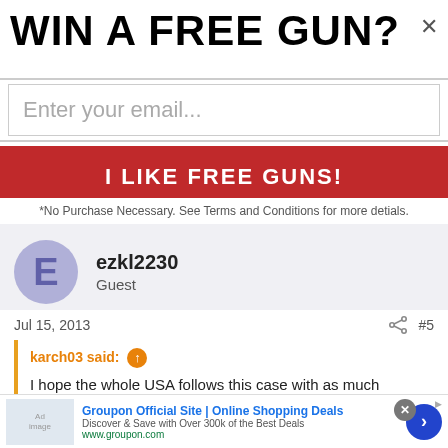WIN A FREE GUN?×
Enter your email...
I LIKE FREE GUNS!
*No Purchase Necessary. See Terms and Conditions for more detials.
ezkl2230
Guest
Jul 15, 2013   #5
karch03 said: ↑
I hope the whole USA follows this case with as much intrigue as the Zimmerman but I doubt they will.
[Figure (screenshot): Groupon advertisement banner: 'Groupon Official Site | Online Shopping Deals - Discover & Save with Over 300k of the Best Deals - www.groupon.com' with thumbnail image and blue arrow button]